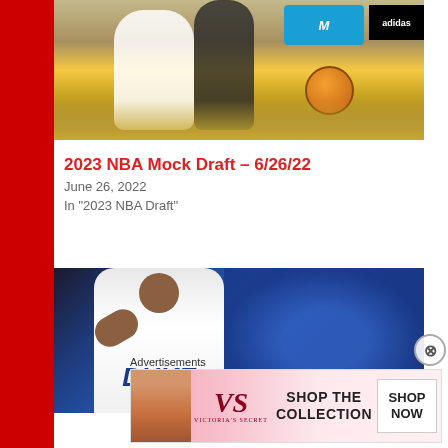[Figure (photo): Basketball players in action on court with Movistar and Adidas branding in background]
2023 NBA Mock Draft – 6/26/22
June 26, 2022
In "2023 NBA Draft"
[Figure (photo): Duke basketball player wearing #5 jersey celebrating in front of blue-clad crowd]
Advertisements
[Figure (photo): Victoria's Secret advertisement: Shop The Collection - Shop Now]